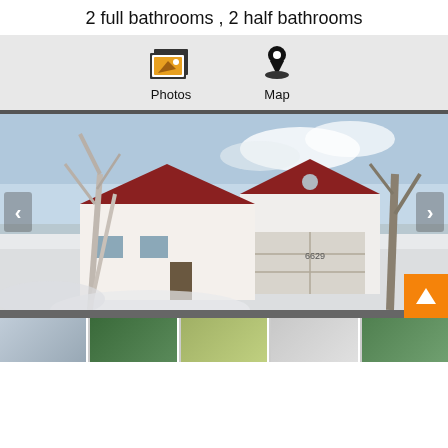2 full bathrooms , 2 half bathrooms
[Figure (screenshot): Navigation bar with Photos and Map icons on grey background]
[Figure (photo): Exterior photo of a house in winter snow with birch trees and attached garage, navigation arrows on sides]
[Figure (photo): Thumbnail strip showing 5 property photos at the bottom]